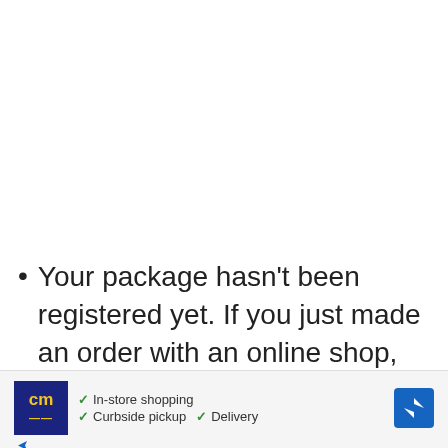Your package hasn't been registered yet. If you just made an order with an online shop, you often get a tracking number straight off. nevertheless, this does not mean that your package
[Figure (infographic): Advertisement banner for CM store showing logo, checkmarks for In-store shopping, Curbside pickup, Delivery, a navigation/directions icon, and close controls]